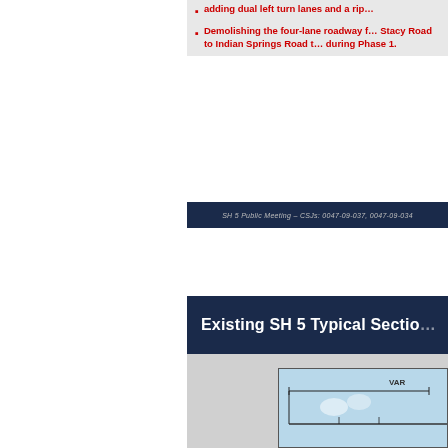Demolishing the four-lane roadway from Stacy Road to Indian Springs Road that was built during Phase 1.
SH 5 Public Meeting – CSJs: 0047-09-037, 0047-09-034
Existing SH 5 Typical Sectio…
[Figure (engineering-diagram): Partial engineering cross-section diagram of SH 5 typical section showing road width dimensions including VAR label and lane markings on light blue background]